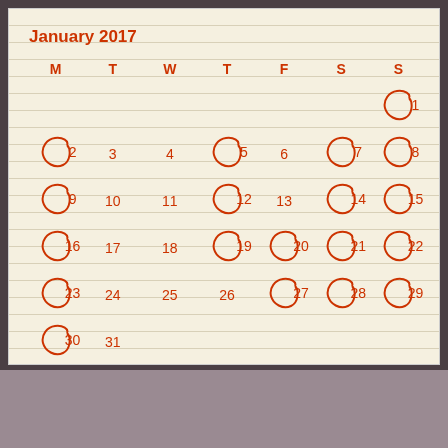January 2017
[Figure (other): January 2017 calendar grid with days M T W T F S S. Certain dates are shown with hand-drawn circle highlights: 1, 2, 5, 7, 8, 9, 12, 14, 15, 16, 19, 20, 21, 22, 23, 27, 28, 29, 30. Plain dates: 3, 4, 6, 10, 11, 13, 17, 18, 24, 25, 26, 31.]
« Dec   Feb »